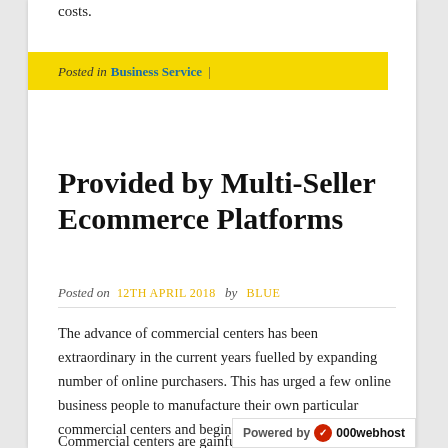costs.
Posted in Business Service |
Provided by Multi-Seller Ecommerce Platforms
Posted on 12TH APRIL 2018 by BLUE
The advance of commercial centers has been extraordinary in the current years fuelled by expanding number of online purchasers. This has urged a few online business people to manufacture their own particular commercial centers and begin their internet business by posting various merchants on their stage.
Commercial centers are gainfully Powered by 000webhost